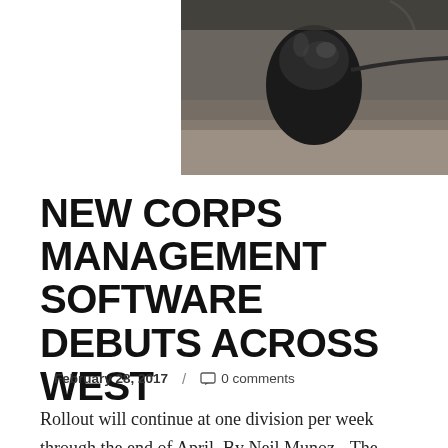[Figure (photo): Close-up photograph of a black computer mouse on a surface, dark blurred background]
NEW CORPS MANAGEMENT SOFTWARE DEBUTS ACROSS WEST
February 28, 2017 / 0 comments
Rollout will continue at one division per week through the end of April. By Neil Munoz - The Territorial Program and IT departments collaborated to design an